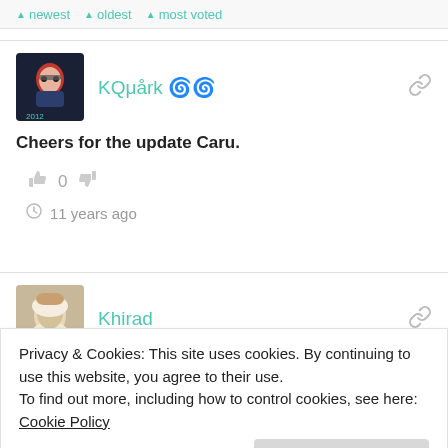▲ newest ▲ oldest ▲ most voted
KQμårk 🌀🌀
Cheers for the update Caru.
👍 0 👎
🕐 11 years ago
Khirad
Privacy & Cookies: This site uses cookies. By continuing to use this website, you agree to their use.
To find out more, including how to control cookies, see here: Cookie Policy
Close and accept
Labour does well in the same place it does in Britain: urban